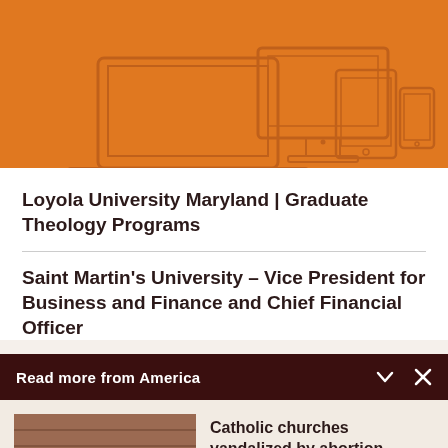[Figure (illustration): Orange banner with outline drawings of digital devices: laptop, desktop monitor, tablet, and smartphone on orange background]
Loyola University Maryland | Graduate Theology Programs
Saint Martin's University – Vice President for Business and Finance and Chief Financial Officer
Read more from America
[Figure (photo): Photo of a building wall vandalized with graffiti reading 'If abortions aren't Safe then You aren't either']
Catholic churches vandalized by abortion-rights...
Michael J. O'Loughlin